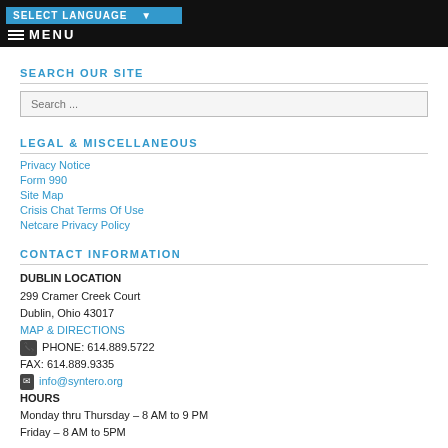SELECT LANGUAGE  ▾   MENU
SEARCH OUR SITE
Search ...
LEGAL & MISCELLANEOUS
Privacy Notice
Form 990
Site Map
Crisis Chat Terms Of Use
Netcare Privacy Policy
CONTACT INFORMATION
DUBLIN LOCATION
299 Cramer Creek Court
Dublin, Ohio 43017
MAP & DIRECTIONS
PHONE: 614.889.5722
FAX: 614.889.9335
info@syntero.org
HOURS
Monday thru Thursday – 8 AM to 9 PM
Friday – 8 AM to 5PM